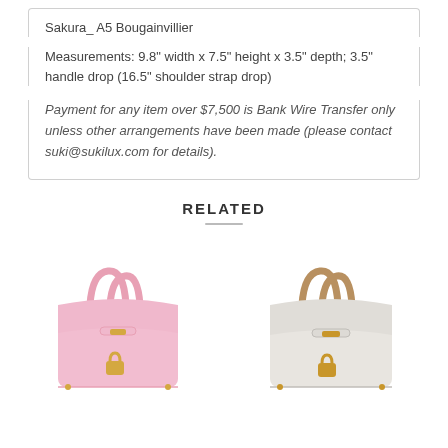Sakura_ A5 Bougainvillier
Measurements: 9.8" width x 7.5" height x 3.5" depth; 3.5" handle drop (16.5" shoulder strap drop)
Payment for any item over $7,500 is Bank Wire Transfer only unless other arrangements have been made (please contact suki@sukilux.com for details).
RELATED
[Figure (photo): Pink Hermes-style Birkin bag with gold hardware on white background]
[Figure (photo): White and tan Hermes-style Birkin bag with gold hardware on white background]